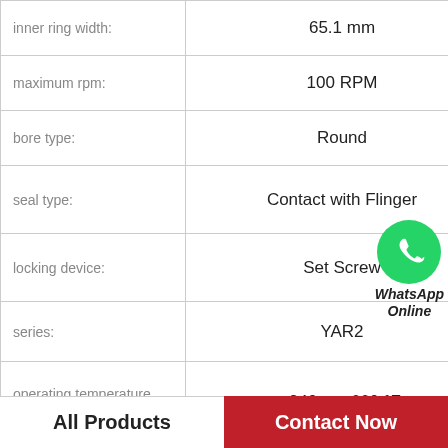| Property | Value |
| --- | --- |
| inner ring width: | 65.1 mm |
| maximum rpm: | 100 RPM |
| bore type: | Round |
| seal type: | Contact with Flinger |
| locking device: | Set Screw |
| series: | YAR2 |
| operating temperature range: | -240 to +660 °F |
| d1 ≈ | 75.64 mm |
[Figure (logo): WhatsApp Online green phone icon with italic bold text 'WhatsApp Online']
All Products   Contact Now